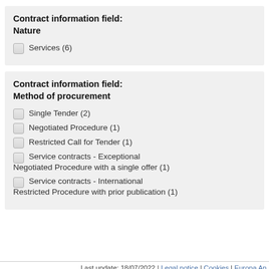Contract information field: Nature
Services (6)
Contract information field: Method of procurement
Single Tender (2)
Negotiated Procedure (1)
Restricted Call for Tender (1)
Service contracts - Exceptional Negotiated Procedure with a single offer (1)
Service contracts - International Restricted Procedure with prior publication (1)
Last update: 18/07/2022 | Legal notice | Cookies | Europa An